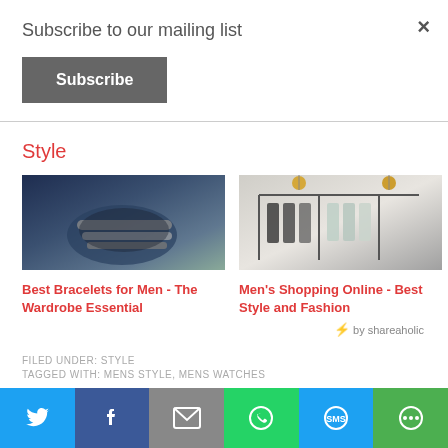×
Subscribe to our mailing list
Subscribe
Style
[Figure (photo): Close-up of a man's wrist wearing multiple beaded bracelets, blue suit jacket in background]
[Figure (photo): Interior of a men's clothing store with clothes hanging on racks and pendant lights]
Best Bracelets for Men - The Wardrobe Essential
Men's Shopping Online - Best Style and Fashion
⚡ by shareaholic
FILED UNDER: STYLE
TAGGED WITH: MENS STYLE, MENS WATCHES